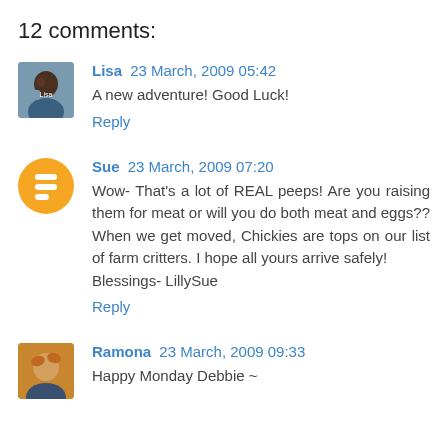12 comments:
Lisa 23 March, 2009 05:42
A new adventure! Good Luck!
Reply
Sue 23 March, 2009 07:20
Wow- That's a lot of REAL peeps! Are you raising them for meat or will you do both meat and eggs?? When we get moved, Chickies are tops on our list of farm critters. I hope all yours arrive safely!
Blessings- LillySue
Reply
Ramona 23 March, 2009 09:33
Happy Monday Debbie ~